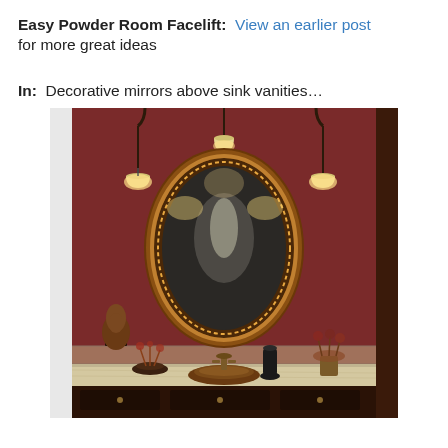Easy Powder Room Facelift: View an earlier post for more great ideas
In: Decorative mirrors above sink vanities…
[Figure (photo): A powder room with a decorative round gold/copper framed mirror mounted on a deep red wall, flanked by two pendant lights with bell-shaped shades hanging from wrought-iron hooks. Below the mirror is a marble-top vanity with a round copper sink, a bronze faucet, and decorative items including a bronze sculpture, a black vase, and dried floral arrangements.]